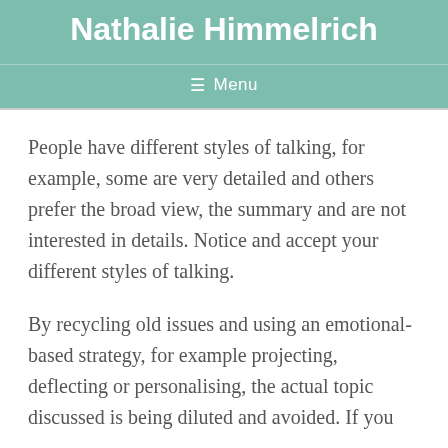Nathalie Himmelrich
Menu
People have different styles of talking, for example, some are very detailed and others prefer the broad view, the summary and are not interested in details. Notice and accept your different styles of talking.
By recycling old issues and using an emotional-based strategy, for example projecting, deflecting or personalising, the actual topic discussed is being diluted and avoided. If you